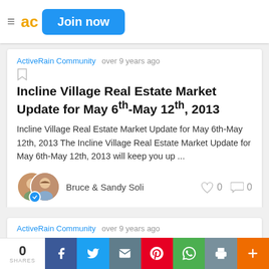Join now
ActiveRain Community   over 9 years ago
Incline Village Real Estate Market Update for May 6th-May 12th, 2013
Incline Village Real Estate Market Update for May 6th-May 12th, 2013 The Incline Village Real Estate Market Update for May 6th-May 12th, 2013 will keep you up ...
Bruce & Sandy Soli
ActiveRain Community   over 9 years ago
0 SHARES